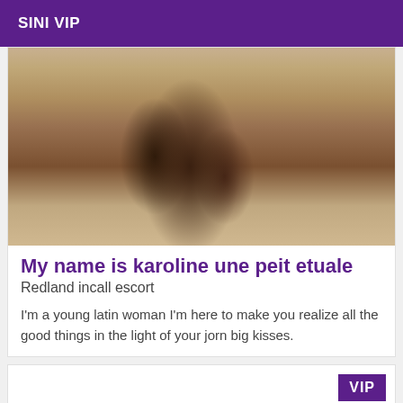SINI VIP
[Figure (photo): Close-up photo of legs wearing fishnet stockings with bow details, warm beige/cream background]
My name is karoline une peit etuale
Redland incall escort
I'm a young latin woman I'm here to make you realize all the good things in the light of your jorn big kisses.